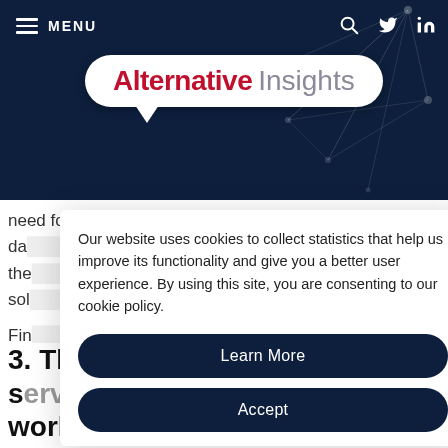[Figure (screenshot): Website header with dark navy background showing Alternative Insights logo in a speech-bubble shape, hamburger menu with MENU text, search icon, Twitter and LinkedIn icons, and decorative network graph lines in top-right corner.]
need for a physical document. There are some sophisticated data ... understand the ... ce relevant sol ...
Our website uses cookies to collect statistics that help us improve its functionality and give you a better user experience. By using this site, you are consenting to our cookie policy.
Learn More
Accept
Fin ... r people pol ... ter usage an ... re-write.
3. The digitisation of central services workstream